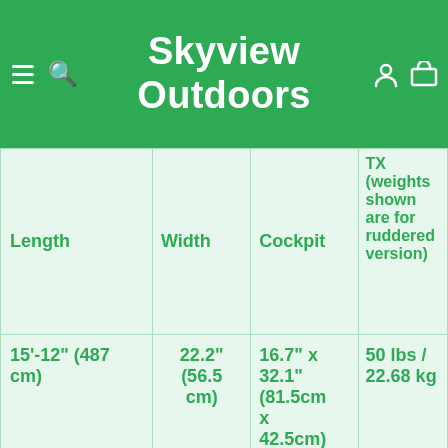Skyview Outdoors
| Length | Width | Cockpit | TX (weights shown are for ruddered version) |
| --- | --- | --- | --- |
| 15'-12" (487 cm) | 22.2" (56.5 cm) | 16.7" x 32.1" (81.5cm x 42.5cm) | 50 lbs / 22.68 kg |
| Recommended | Total | Type of | Steering |